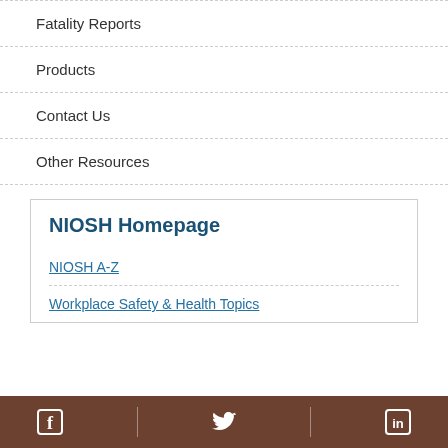Fatality Reports
Products
Contact Us
Other Resources
NIOSH Homepage
NIOSH A-Z
Workplace Safety & Health Topics
Facebook | Twitter | LinkedIn